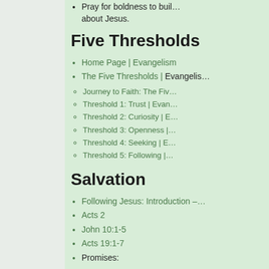Pray for boldness to build... about Jesus.
Five Thresholds
Home Page | Evangelism
The Five Thresholds | Evangelis...
Journey to Faith: The Fiv...
Threshold 1: Trust | Evan...
Threshold 2: Curiosity | E...
Threshold 3: Openness |...
Threshold 4: Seeking | E...
Threshold 5: Following |...
Salvation
Following Jesus: Introduction –...
Acts 2
John 10:1-5
Acts 19:1-7
Promises: